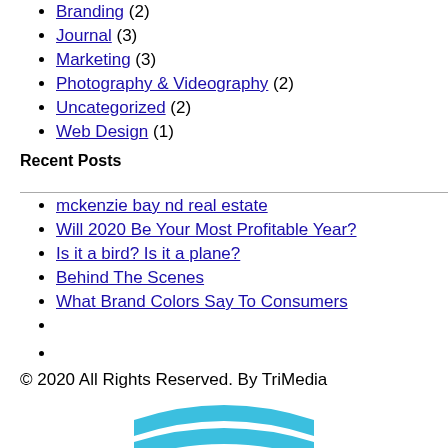Branding (2)
Journal (3)
Marketing (3)
Photography & Videography (2)
Uncategorized (2)
Web Design (1)
Recent Posts
mckenzie bay nd real estate
Will 2020 Be Your Most Profitable Year?
Is it a bird? Is it a plane?
Behind The Scenes
What Brand Colors Say To Consumers
© 2020 All Rights Reserved. By TriMedia
[Figure (logo): TriMedia logo - two cyan/light blue curved arc shapes stacked, resembling a stylized wave or hamburger menu icon]